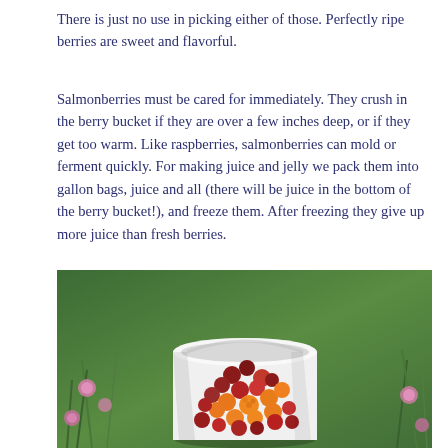There is just no use in picking either of those. Perfectly ripe berries are sweet and flavorful.
Salmonberries must be cared for immediately. They crush in the berry bucket if they are over a few inches deep, or if they get too warm. Like raspberries, salmonberries can mold or ferment quickly. For making juice and jelly we pack them into gallon bags, juice and all (there will be juice in the bottom of the berry bucket!), and freeze them. After freezing they give up more juice than fresh berries.
[Figure (photo): Overhead view of a white bucket filled with salmonberries in various shades of red, orange, and dark red/black, sitting on green grass with pink clover flowers visible around it.]